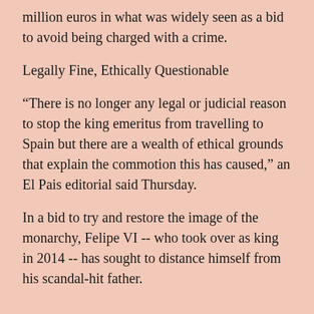million euros in what was widely seen as a bid to avoid being charged with a crime.
Legally Fine, Ethically Questionable
“There is no longer any legal or judicial reason to stop the king emeritus from travelling to Spain but there are a wealth of ethical grounds that explain the commotion this has caused,” an El Pais editorial said Thursday.
In a bid to try and restore the image of the monarchy, Felipe VI -- who took over as king in 2014 -- has sought to distance himself from his scandal-hit father.